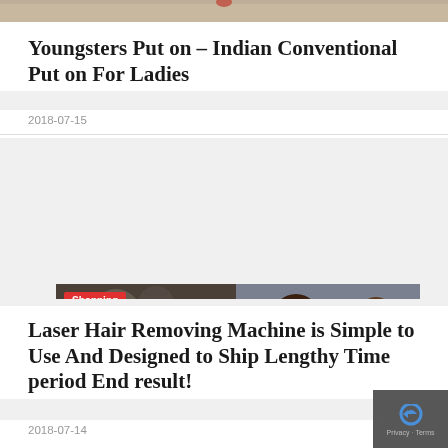[Figure (photo): Top portion of a fashion photo showing a woman's lower body in traditional Indian clothing]
Youngsters Put on – Indian Conventional Put on For Ladies
2018-07-15
[Figure (photo): Two women shopping in a store, one holding a red jacket. A 'Shopping' label overlay is in the top-left corner.]
Laser Hair Removing Machine is Simple to Use And Designed to Ship Lengthy Time period End result!
2018-07-14